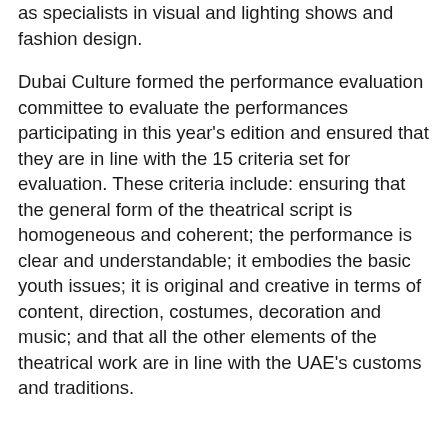as specialists in visual and lighting shows and fashion design.
Dubai Culture formed the performance evaluation committee to evaluate the performances participating in this year's edition and ensured that they are in line with the 15 criteria set for evaluation. These criteria include: ensuring that the general form of the theatrical script is homogeneous and coherent; the performance is clear and understandable; it embodies the basic youth issues; it is original and creative in terms of content, direction, costumes, decoration and music; and that all the other elements of the theatrical work are in line with the UAE's customs and traditions.